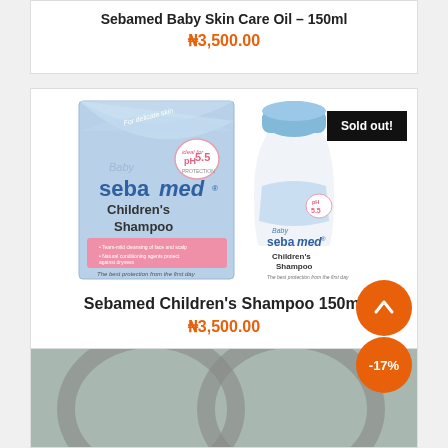Sebamed Baby Skin Care Oil – 150ml
₦3,500.00
[Figure (photo): Sebamed Children's Shampoo 150ml product photo showing box and bottle with blue cap and pink label on white background. Sold out badge in top right corner.]
Sebamed Children's Shampoo 150ml
₦3,500.00
[Figure (photo): Partial view of another product at the bottom of the page, appearing grey/green colored. An orange scroll-up button and -17% discount badge overlay.]